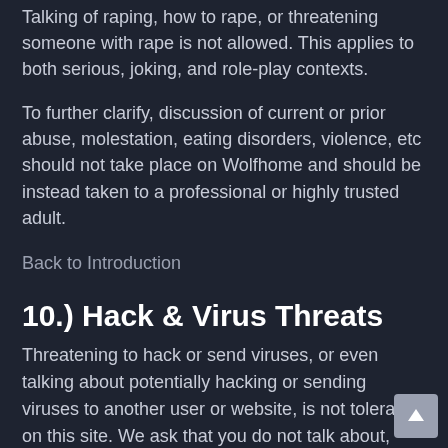Talking of raping, how to rape, or threatening someone with rape is not allowed. This applies to both serious, joking, and role-play contexts.
To further clarify, discussion of current or prior abuse, molestation, eating disorders, violence, etc should not take place on Wolfhome and should be instead taken to a professional or highly trusted adult.
Back to Introduction
10.) Hack & Virus Threats
Threatening to hack or send viruses, or even talking about potentially hacking or sending viruses to another user or website, is not tolerated on this site. We ask that you do not talk about, share tips, tricks, or share links about hacking, sending viruses, or discuss potentially hacking or sending viruses.